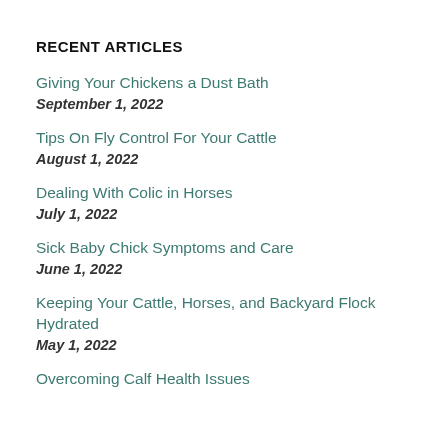RECENT ARTICLES
Giving Your Chickens a Dust Bath
September 1, 2022
Tips On Fly Control For Your Cattle
August 1, 2022
Dealing With Colic in Horses
July 1, 2022
Sick Baby Chick Symptoms and Care
June 1, 2022
Keeping Your Cattle, Horses, and Backyard Flock Hydrated
May 1, 2022
Overcoming Calf Health Issues